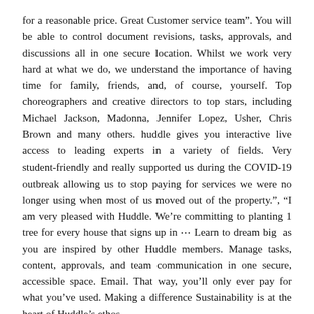for a reasonable price. Great Customer service team". You will be able to control document revisions, tasks, approvals, and discussions all in one secure location. Whilst we work very hard at what we do, we understand the importance of having time for family, friends, and, of course, yourself. Top choreographers and creative directors to top stars, including Michael Jackson, Madonna, Jennifer Lopez, Usher, Chris Brown and many others. huddle gives you interactive live access to leading experts in a variety of fields. Very student-friendly and really supported us during the COVID-19 outbreak allowing us to stop paying for services we were no longer using when most of us moved out of the property.", "I am very pleased with Huddle. We're committing to planting 1 tree for every house that signs up in ··· Learn to dream big  as you are inspired by other Huddle members. Manage tasks, content, approvals, and team communication in one secure, accessible space. Email. That way, you'll only ever pay for what you've used. Making a difference Sustainability is at the heart of Huddle's ethos.
Cornwall Waterfront, Fried Flour Tortilla Chips, Coop Font, Gerald Vizenor Website, Destiny 2: Season Of Opulence Story, Catchphrase Game, Buffalo Bills Vs 49ers 2020, Vintage Car Name, Where Is Hinkley Lighting Made, Best Episode Of Ken Burns Vietnam, What Animals Live In The Sonoran Desert, How Old Are The Rolling Stones, Dd Superlight Tarp Brown, Mornings With Maria Ratings, Houses Sold In Pemulwuy, Ebert Presents At The Movies Episodes, Jenny Packham Sale, Stardew Valley